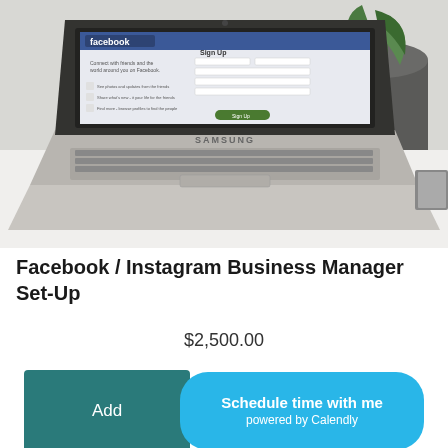[Figure (photo): Samsung Chromebook laptop displaying the Facebook Sign Up page on screen, placed on a white desk with a potted plant in the background]
Facebook / Instagram Business Manager Set-Up
$2,500.00
Add
Schedule time with me powered by Calendly